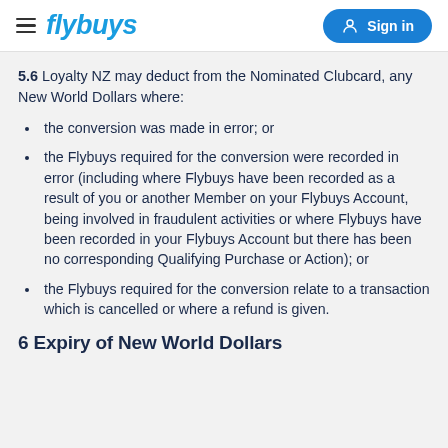flybuys  Sign in
5.6 Loyalty NZ may deduct from the Nominated Clubcard, any New World Dollars where:
the conversion was made in error; or
the Flybuys required for the conversion were recorded in error (including where Flybuys have been recorded as a result of you or another Member on your Flybuys Account, being involved in fraudulent activities or where Flybuys have been recorded in your Flybuys Account but there has been no corresponding Qualifying Purchase or Action); or
the Flybuys required for the conversion relate to a transaction which is cancelled or where a refund is given.
6  Expiry of New World Dollars